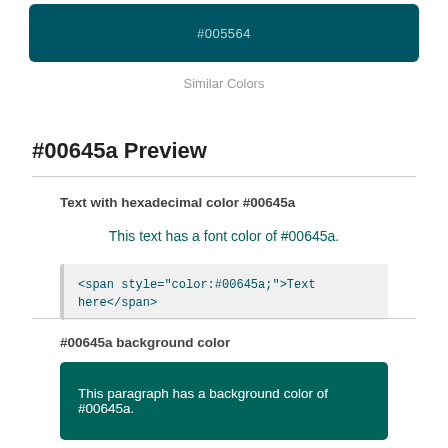[Figure (other): Teal color swatch bar labeled #005564]
Similar Colors
#00645a Preview
Text with hexadecimal color #00645a
This text has a font color of #00645a.
<span style="color:#00645a;">Text here</span>
#00645a background color
This paragraph has a background color of #00645a.